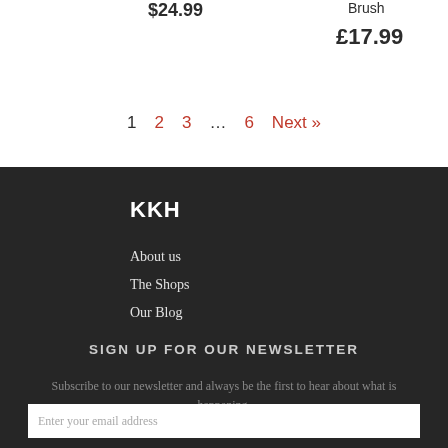$24.99
Brush
£17.99
1  2  3  ...  6  Next »
KKH
About us
The Shops
Our Blog
SIGN UP FOR OUR NEWSLETTER
Subscribe to our newsletter and always be the first to hear about what is happening.
Enter your email address